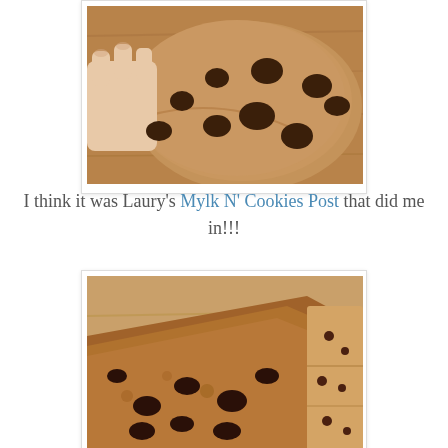[Figure (photo): Close-up photo of a hand holding a large chocolate chip cookie, viewed from above on a wooden surface. The cookie is thick and studded with large chocolate chips.]
I think it was Laury's Mylk N' Cookies Post that did me in!!!
[Figure (photo): Close-up photo of chocolate chip cookies stacked or arranged, showing the textured surface with chocolate chips embedded in a brown dough, on a wooden background.]